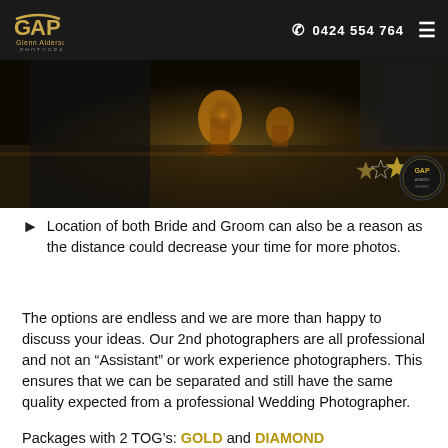Glenn Alderson Photography | 0424 554 764
[Figure (photo): Dark moody photo of drinks/glasses on a table at a wedding venue, with award badges overlaid in the bottom right corner including star badges and a circular GAP logo badge.]
Location of both Bride and Groom can also be a reason as the distance could decrease your time for more photos.
The options are endless and we are more than happy to discuss your ideas. Our 2nd photographers are all professional and not an "Assistant" or work experience photographers. This ensures that we can be separated and still have the same quality expected from a professional Wedding Photographer.
Packages with 2 TOG's: GOLD and DIAMOND